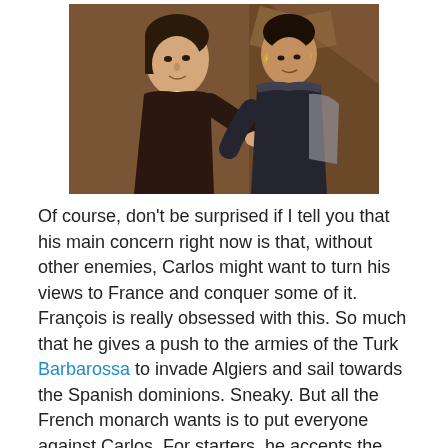[Figure (photo): Two people in Renaissance-era costumes, a young man in dark velvet clothing and a woman with ornate jewelry and collar, looking at something together.]
Of course, don't be surprised if I tell you that his main concern right now is that, without other enemies, Carlos might want to turn his views to France and conquer some of it. François is really obsessed with this. So much that he gives a push to the armies of the Turk Barbarossa to invade Algiers and sail towards the Spanish dominions. Sneaky. But all the French monarch wants is to put everyone against Carlos. For starters, he accepts the Pope's proposition of marrying his niece Caterina to the